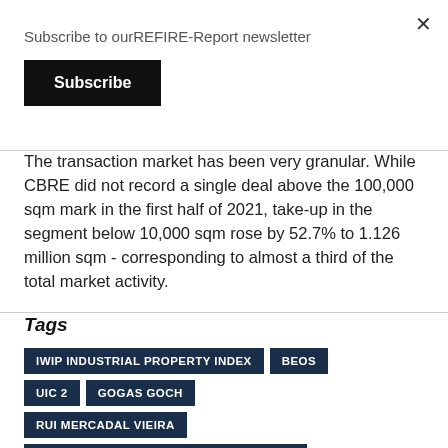Subscribe to ourREFIRE-Report newsletter
Subscribe
The transaction market has been very granular. While CBRE did not record a single deal above the 100,000 sqm mark in the first half of 2021, take-up in the segment below 10,000 sqm rose by 52.7% to 1.126 million sqm - corresponding to almost a third of the total market activity.
Tags
IWIP INDUSTRIAL PROPERTY INDEX
BEOS
UIC 2
GOGAS GOCH
RUI MERCADAL VIEIRA
EUROPEAN CORE LOGISTICS FUND (ECLF)
CBRE
SILVIO MÜLLER
DWS